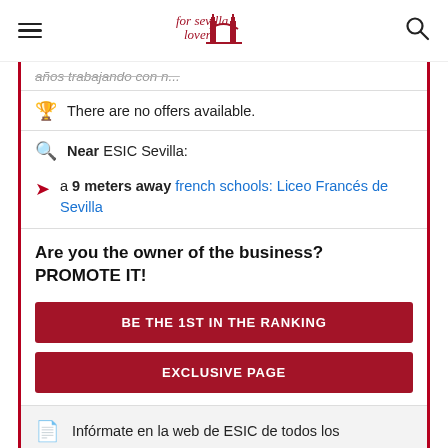For Sevilla Lovers (logo)
años trabajando con n...
There are no offers available.
Near ESIC Sevilla:
a 9 meters away french schools: Liceo Francés de Sevilla
Are you the owner of the business? PROMOTE IT!
BE THE 1ST IN THE RANKING
EXCLUSIVE PAGE
Infórmate en la web de ESIC de todos los